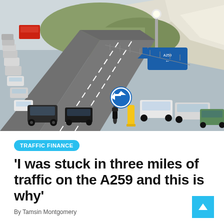[Figure (photo): Aerial/elevated view of a busy multi-lane road (A259) with heavy traffic queue of cars stretching into the distance on the left side, and free-flowing traffic on the right. White chalk cliffs and hilly landscape visible in the background. A blue directional road sign and a yellow bollard are visible in the middle of the road.]
TRAFFIC FINANCE
'I was stuck in three miles of traffic on the A259 and this is why'
By Tamsin Montgomery